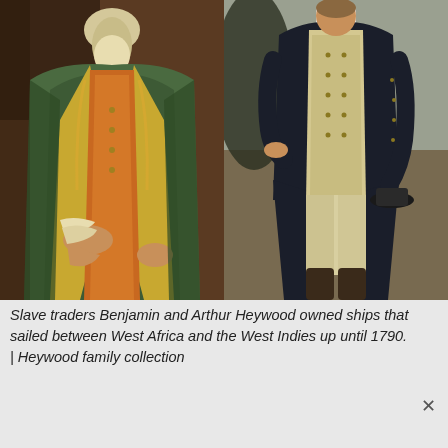[Figure (photo): Two historical oil paintings side by side. Left: a close-up portrait of a man in an 18th-century green coat with gold embroidery and an orange waistcoat. Right: a full-length portrait of a man in a dark navy coat with a cream/beige waistcoat and breeches, holding a hat.]
Slave traders Benjamin and Arthur Heywood owned ships that sailed between West Africa and the West Indies up until 1790.  |  Heywood family collection